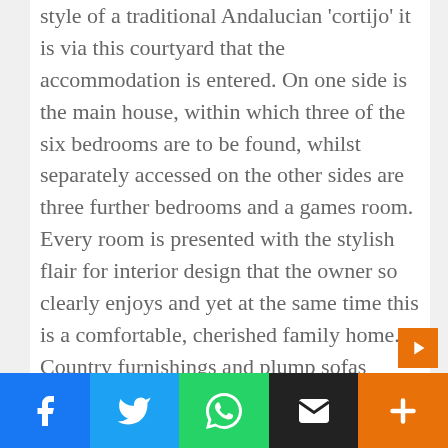style of a traditional Andalucian 'cortijo' it is via this courtyard that the accommodation is entered. On one side is the main house, within which three of the six bedrooms are to be found, whilst separately accessed on the other sides are three further bedrooms and a games room. Every room is presented with the stylish flair for interior design that the owner so clearly enjoys and yet at the same time this is a comfortable, cherished family home. Country furnishings and plump sofas instantly welcome whilst rich fabrics of tartan and soft velvet add a delightful touch of class.

With such captivating scenery and far-